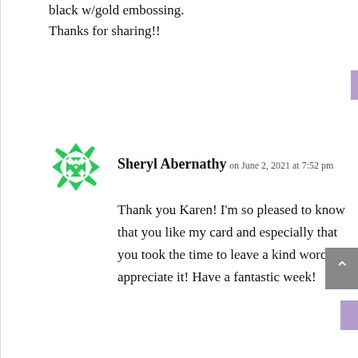black w/gold embossing.
Thanks for sharing!!
Reply
Sheryl Abernathy on June 2, 2021 at 7:52 pm
Thank you Karen! I’m so pleased to know that you like my card and especially that you took the time to leave a kind word. I appreciate it! Have a fantastic week!
Reply